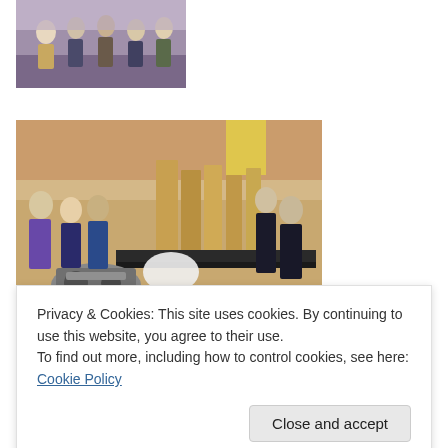[Figure (photo): Cropped photo of people gathered at what appears to be a school event, top portion visible]
[Figure (photo): Photo of a school science/engineering fair showing students and parents at display tables with cardboard project boards and mechanical exhibits in a gymnasium]
Parents and community groups have eagerly supported
Privacy & Cookies: This site uses cookies. By continuing to use this website, you agree to their use.
To find out more, including how to control cookies, see here: Cookie Policy
[Figure (photo): Partial photo visible at bottom of page]